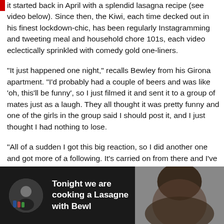it started back in April with a splendid lasagna recipe (see video below). Since then, the Kiwi, each time decked out in his finest lockdown-chic, has been regularly Instagramming and tweeting meal and household chore 101s, each video eclectically sprinkled with comedy gold one-liners.
“It just happened one night,” recalls Bewley from his Girona apartment. “I’d probably had a couple of beers and was like ‘oh, this’ll be funny’, so I just filmed it and sent it to a group of mates just as a laugh. They all thought it was pretty funny and one of the girls in the group said I should post it, and I just thought I had nothing to lose.
“All of a sudden I got this big reaction, so I did another one and got more of a following. It’s carried on from there and I’ve kept on doing them.”
[Figure (screenshot): Video thumbnail showing a dark background with a circular avatar of a man in black shirt with bottles/jars visible, and text 'Tonight we are cooking a Lasagne with Bewl' on the left panel, and a blurred person on the right panel.]